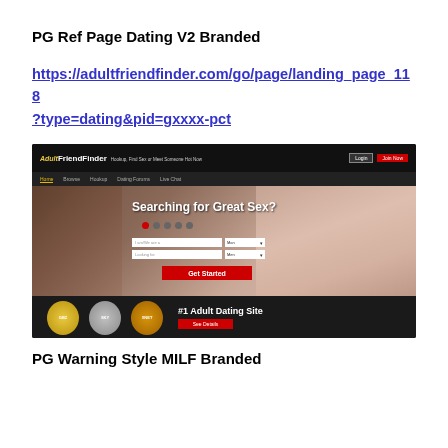PG Ref Page Dating V2 Branded
https://adultfriendfinder.com/go/page/landing_page_118?type=dating&pid=gxxxx-pct
[Figure (screenshot): Screenshot of AdultFriendFinder.com landing page showing 'Searching for Great Sex?' headline with form fields for 'I am/We are a' and 'Looking for' dropdowns, a red 'Get Started' button, navigation bar, and footer with award badges and '#1 Adult Dating Site' text.]
PG Warning Style MILF Branded